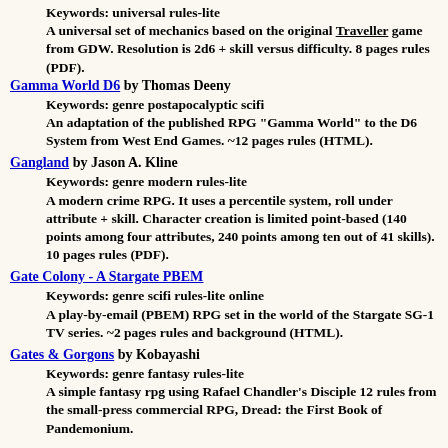Keywords: universal rules-lite
A universal set of mechanics based on the original Traveller game from GDW. Resolution is 2d6 + skill versus difficulty. 8 pages rules (PDF).
Gamma World D6 by Thomas Deeny
Keywords: genre postapocalyptic scifi
An adaptation of the published RPG "Gamma World" to the D6 System from West End Games. ~12 pages rules (HTML).
Gangland by Jason A. Kline
Keywords: genre modern rules-lite
A modern crime RPG. It uses a percentile system, roll under attribute + skill. Character creation is limited point-based (140 points among four attributes, 240 points among ten out of 41 skills). 10 pages rules (PDF).
Gate Colony - A Stargate PBEM
Keywords: genre scifi rules-lite online
A play-by-email (PBEM) RPG set in the world of the Stargate SG-1 TV series. ~2 pages rules and background (HTML).
Gates & Gorgons by Kobayashi
Keywords: genre fantasy rules-lite
A simple fantasy rpg using Rafael Chandler's Disciple 12 rules from the small-press commercial RPG, Dread: the First Book of Pandemonium.